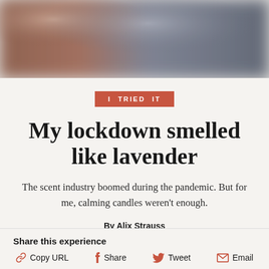[Figure (photo): Blurred hero image with warm brown and grey tones, appears to be a soft-focus lifestyle photo]
I TRIED IT
My lockdown smelled like lavender
The scent industry boomed during the pandemic. But for me, calming candles weren't enough.
By Alix Strauss
Share this experience
Copy URL
Share
Tweet
Email